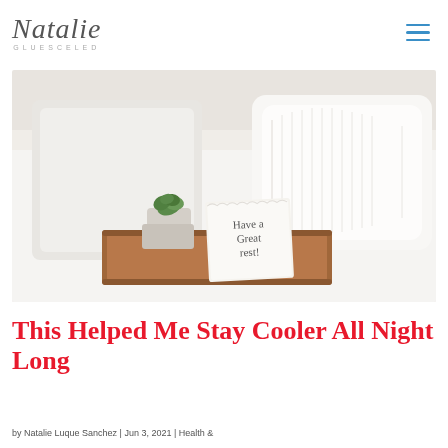Natalie GLUESELED
[Figure (photo): Bedroom scene with white pillows on a bed, a wooden tray on a nightstand holding a small succulent plant and a card that reads 'Have a Great rest!']
This Helped Me Stay Cooler All Night Long
by Natalie Luque Sanchez | Jun 3, 2021 | Health &